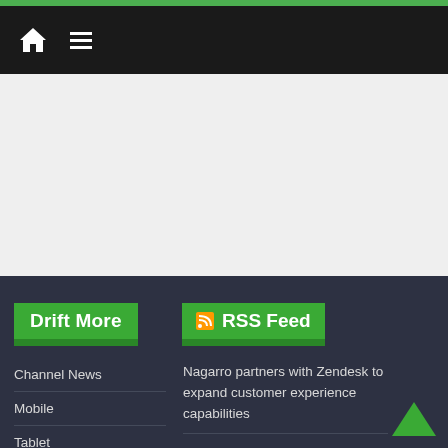Navigation bar with home icon and menu icon
[Figure (screenshot): Gray banner/advertisement area]
Drift More
RSS Feed
Channel News
Mobile
Tablet
Networking
Cloud
Nagarro partners with Zendesk to expand customer experience capabilities